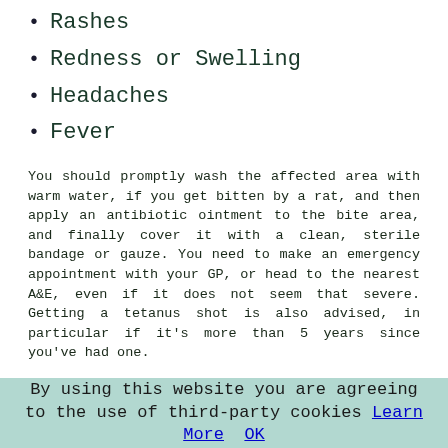Rashes
Redness or Swelling
Headaches
Fever
You should promptly wash the affected area with warm water, if you get bitten by a rat, and then apply an antibiotic ointment to the bite area, and finally cover it with a clean, sterile bandage or gauze. You need to make an emergency appointment with your GP, or head to the nearest A&E, even if it does not seem that severe. Getting a tetanus shot is also advised, in particular if it's more than 5 years since you've had one.
What Attracts Rats?
While some people in Netherfield may think they're cute with their pointy faces, furry bodies and twitching whiskers, mice and rats are definitely not creatures that you want to be living in your home or garden, and can actually be dangerous to have around. Rats and mice can
By using this website you are agreeing to the use of third-party cookies Learn More  OK